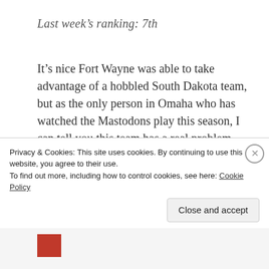Last week's ranking: 7th
It's nice Fort Wayne was able to take advantage of a hobbled South Dakota team, but as the only person in Omaha who has watched the Mastodons play this season, I can tell you this team has a real problem with execution and finishing.
8th – Western Illinois, 4-9, (1-2)
Last week's ranking: 9th
Privacy & Cookies: This site uses cookies. By continuing to use this website, you agree to their use.
To find out more, including how to control cookies, see here: Cookie Policy